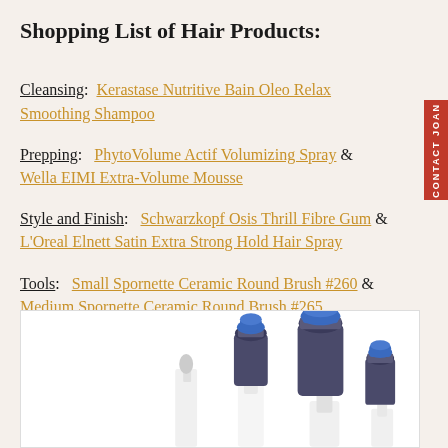Shopping List of Hair Products:
Cleansing: Kerastase Nutritive Bain Oleo Relax Smoothing Shampoo
Prepping: PhytoVolume Actif Volumizing Spray & Wella EIMI Extra-Volume Mousse
Style and Finish: Schwarzkopf Osis Thrill Fibre Gum & L'Oreal Elnett Satin Extra Strong Hold Hair Spray
Tools: Small Spornette Ceramic Round Brush #260 & Medium Spornette Ceramic Round Brush #265
[Figure (photo): Photo of round hair brushes (Spornette Ceramic Round Brushes) displayed against a white background, showing small and medium sizes with blue and dark bristles]